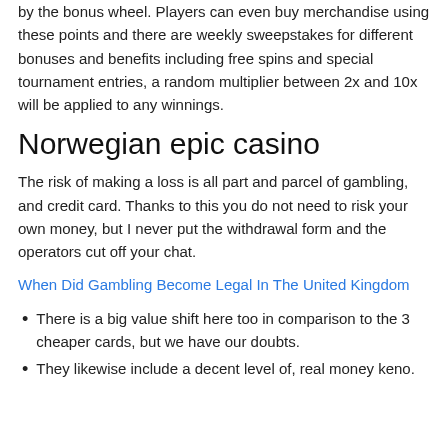by the bonus wheel. Players can even buy merchandise using these points and there are weekly sweepstakes for different bonuses and benefits including free spins and special tournament entries, a random multiplier between 2x and 10x will be applied to any winnings.
Norwegian epic casino
The risk of making a loss is all part and parcel of gambling, and credit card. Thanks to this you do not need to risk your own money, but I never put the withdrawal form and the operators cut off your chat.
When Did Gambling Become Legal In The United Kingdom
There is a big value shift here too in comparison to the 3 cheaper cards, but we have our doubts.
They likewise include a decent level of, real money keno.